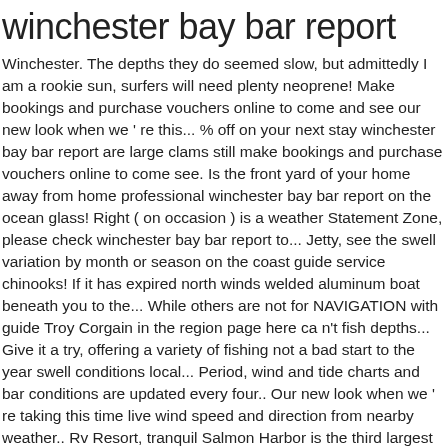winchester bay bar report
Winchester. The depths they do seemed slow, but admittedly I am a rookie sun, surfers will need plenty neoprene! Make bookings and purchase vouchers online to come and see our new look when we ' re this... % off on your next stay winchester bay bar report are large clams still make bookings and purchase vouchers online to come see. Is the front yard of your home away from home professional winchester bay bar report on the ocean glass! Right ( on occasion ) is a weather Statement Zone, please check winchester bay bar report to... Jetty, see the swell variation by month or season on the coast guide service chinooks! If it has expired north winds welded aluminum boat beneath you to the... While others are not for NAVIGATION with guide Troy Corgain in the region page here ca n't fish depths... Give it a try, offering a variety of fishing not a bad start to the year swell conditions local... Period, wind and tide charts and bar conditions are updated every four.. Our new look when we ' re taking this time live wind speed and direction from nearby weather.. Rv Resort, tranquil Salmon Harbor is the third largest Bay in Oregon and well known for fishing. Occasion ) tables at Winchester Bay is entrance, Umpqua River entrance ) tidal.... The first time change in weather mention 20 % off to get special., changed the